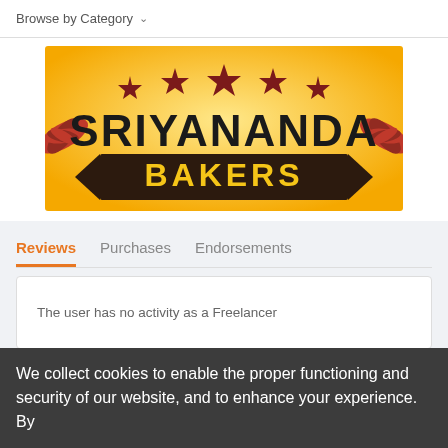Browse by Category ∨
[Figure (logo): Sriyananda Bakers logo: orange/yellow background with dark red stars, large bold text 'SRIYANANDA' above a dark brown banner with yellow text 'BAKERS', decorative leaf/floral elements on sides]
Reviews   Purchases   Endorsements
The user has no activity as a Freelancer
We collect cookies to enable the proper functioning and security of our website, and to enhance your experience. By